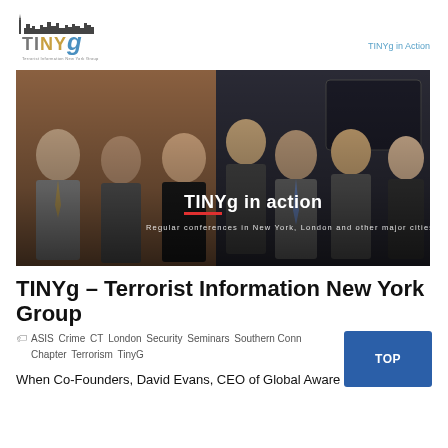[Figure (logo): TINYg logo with stylized city skyline above the text, subtitle reads Terrorist Information New York Group]
TINYg in Action
[Figure (photo): Group photo of approximately 9 professionals in business attire smiling in front of a dark background with text overlay: TINYg in action. Regular conferences in New York, London and other major cities.]
TINYg – Terrorist Information New York Group
ASIS Crime CT London Security Seminars Southern Conn Chapter Terrorism TinyG
When Co-Founders, David Evans, CEO of Global Aware